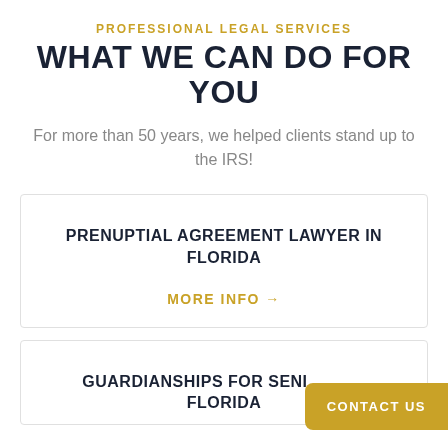PROFESSIONAL LEGAL SERVICES
WHAT WE CAN DO FOR YOU
For more than 50 years, we helped clients stand up to the IRS!
PRENUPTIAL AGREEMENT LAWYER IN FLORIDA
MORE INFO →
GUARDIANSHIPS FOR SENIORS IN FLORIDA
CONTACT US